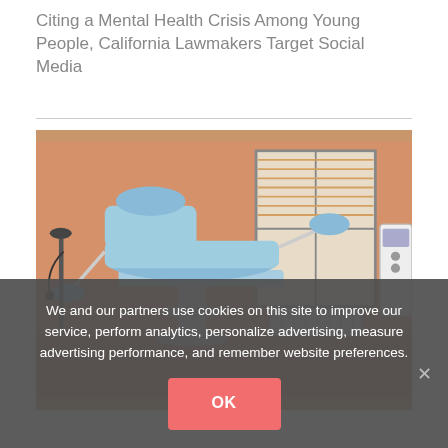Citing a Mental Health Crisis Among Young People, California Lawmakers Target Social Media
[Figure (photo): Medical examination chair with blue upholstery in a clinical room with orange walls, a window with venetian blinds, and medical equipment visible on the sides.]
We and our partners use cookies on this site to improve our service, perform analytics, personalize advertising, measure advertising performance, and remember website preferences.